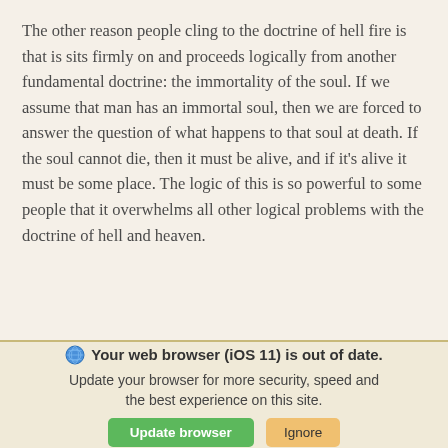The other reason people cling to the doctrine of hell fire is that is sits firmly on and proceeds logically from another fundamental doctrine: the immortality of the soul. If we assume that man has an immortal soul, then we are forced to answer the question of what happens to that soul at death. If the soul cannot die, then it must be alive, and if it's alive it must be some place. The logic of this is so powerful to some people that it overwhelms all other logical problems with the doctrine of hell and heaven.
Your web browser (iOS 11) is out of date. Update your browser for more security, speed and the best experience on this site.